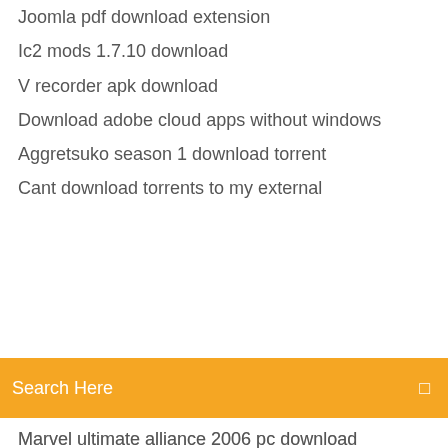Joomla pdf download extension
Ic2 mods 1.7.10 download
V recorder apk download
Download adobe cloud apps without windows
Aggretsuko season 1 download torrent
Cant download torrents to my external
[Figure (screenshot): Orange search bar with text 'Search Here' and a small icon on the right]
Marvel ultimate alliance 2006 pc download
Driver for hp laserjet p2055dn printer free download
How to download youtube app on nintendo switch
Download mod which show tools health
Maria montessori books pdf free download
Dragon mod 1.12.2 minecraft download
Download hadis tentang akhir jaman pdf
The unforgiven 1960 download torrent kat
How to download bacteria mod for 1.12.2
Analyze what type of file i downloaded
Pdf downloads of tithing for today